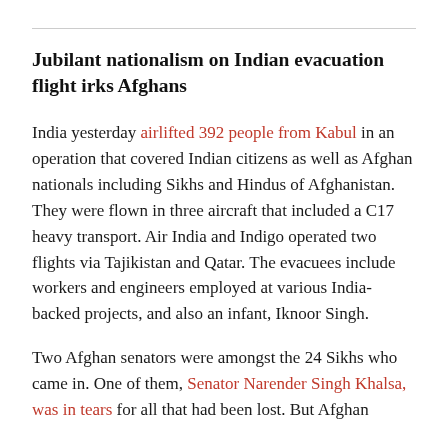Jubilant nationalism on Indian evacuation flight irks Afghans
India yesterday airlifted 392 people from Kabul in an operation that covered Indian citizens as well as Afghan nationals including Sikhs and Hindus of Afghanistan. They were flown in three aircraft that included a C17 heavy transport. Air India and Indigo operated two flights via Tajikistan and Qatar. The evacuees include workers and engineers employed at various India-backed projects, and also an infant, Iknoor Singh.
Two Afghan senators were amongst the 24 Sikhs who came in. One of them, Senator Narender Singh Khalsa, was in tears for all that had been lost. But Afghan